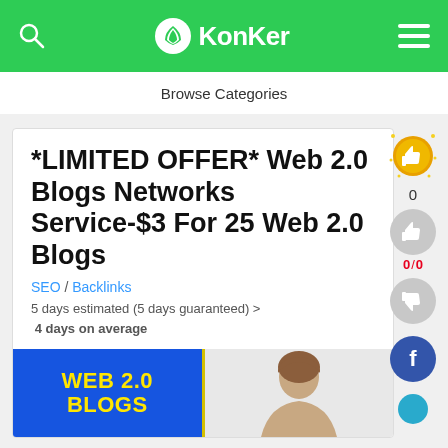KonKer
Browse Categories
*LIMITED OFFER* Web 2.0 Blogs Networks Service-$3 For 25 Web 2.0 Blogs
SEO / Backlinks
5 days estimated (5 days guaranteed) >
 4 days on average
[Figure (screenshot): Banner image showing WEB 2.0 BLOGS text in yellow on blue background, with a person photo on the right side]